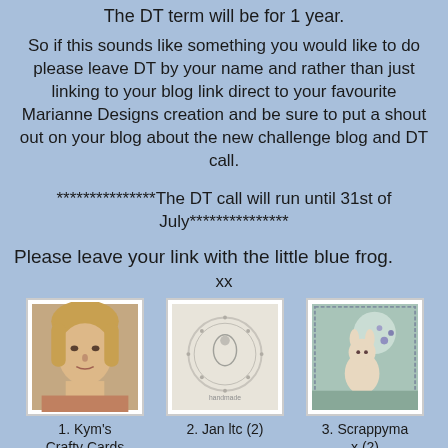The DT term will be for 1 year.
So if this sounds like something you would like to do please leave DT by your name and rather than just linking to your blog link direct to your favourite Marianne Designs creation and be sure to put a shout out on your blog about the new challenge blog and DT call.
***************The DT call will run until 31st of July***************
Please leave your link with the little blue frog.
xx
[Figure (photo): Thumbnail 1: Photo of a woman with blonde hair]
1. Kym's Crafty Cards
[Figure (photo): Thumbnail 2: Embossed or lace-style craft card]
2. Jan ltc (2)
[Figure (illustration): Thumbnail 3: Illustrated/stamped card with a figure]
3. Scrappymax (2)